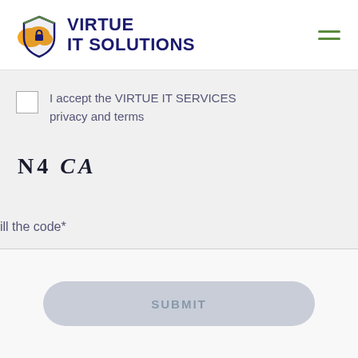[Figure (logo): Virtue IT Solutions logo with cloud and shield icon in orange/green/blue colors, accompanied by bold navy text 'VIRTUE IT SOLUTIONS']
I accept the VIRTUE IT SERVICES privacy and terms
[Figure (other): CAPTCHA image showing text 'N4 CA' in bold serif italic style]
ill the code*
SUBMIT